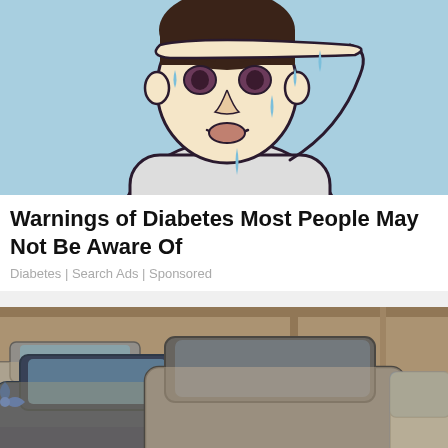[Figure (illustration): Cartoon illustration of a person sweating, holding hand to forehead with sweat drops, light blue background]
Warnings of Diabetes Most People May Not Be Aware Of
Diabetes | Search Ads | Sponsored
[Figure (photo): Photo of multiple dusty luxury cars (BMW, Audi) parked in a lot, covered in dust/sand]